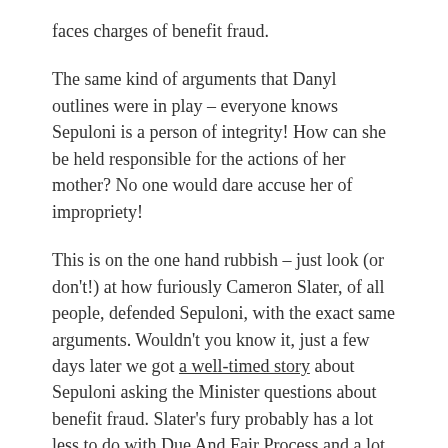faces charges of benefit fraud.
The same kind of arguments that Danyl outlines were in play – everyone knows Sepuloni is a person of integrity! How can she be held responsible for the actions of her mother? No one would dare accuse her of impropriety!
This is on the one hand rubbish – just look (or don't!) at how furiously Cameron Slater, of all people, defended Sepuloni, with the exact same arguments. Wouldn't you know it, just a few days later we got a well-timed story about Sepuloni asking the Minister questions about benefit fraud. Slater's fury probably has a lot less to do with Due And Fair Process and a lot more to do with whatever additional attack lines he had queued up.
And on the other hand, it's rubbish again, because that's not how conflicts of interest work. People in positions of